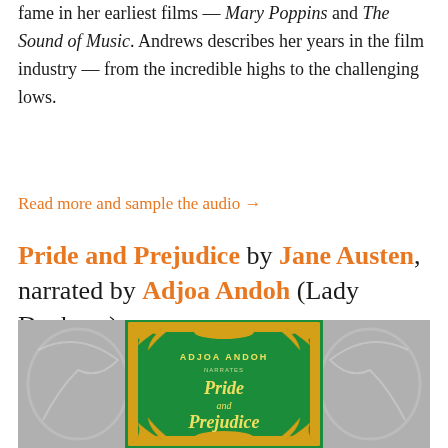fame in her earliest films — Mary Poppins and The Sound of Music. Andrews describes her years in the film industry — from the incredible highs to the challenging lows.
Read more and sample the audio →
Pride and Prejudice by Jane Austen, narrated by Adjoa Andoh (Lady Danbury)
[Figure (illustration): Book cover of Pride and Prejudice narrated by Adjoa Andoh. Green cover with ornate gold baroque floral border decoration. Text reads: ADJOA ANDOH NARRATES Pride and Prejudice. Flanked by grey decorative side panels.]